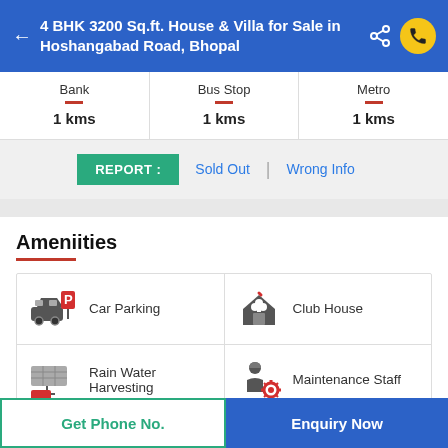4 BHK 3200 Sq.ft. House & Villa for Sale in Hoshangabad Road, Bhopal
| Bank | Bus Stop | Metro |
| --- | --- | --- |
| 1 kms | 1 kms | 1 kms |
REPORT : Sold Out | Wrong Info
Ameniities
| Amenity (left) | Amenity (right) |
| --- | --- |
| Car Parking | Club House |
| Rain Water Harvesting | Maintenance Staff |
| (partial row) |  |
Get Phone No.
Enquiry Now